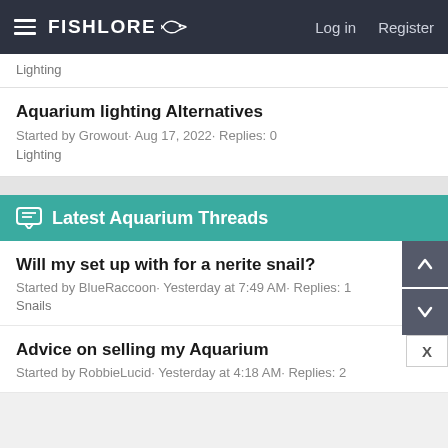FishLore  Log in  Register
Lighting
Aquarium lighting Alternatives
Started by Growout· Aug 17, 2022· Replies: 0
Lighting
Latest Aquarium Threads
Will my set up with for a nerite snail?
Started by BlueRaccoon· Yesterday at 7:49 AM· Replies: 1
Snails
Advice on selling my Aquarium
Started by RobbieLucid· Yesterday at 4:18 AM· Replies: 2